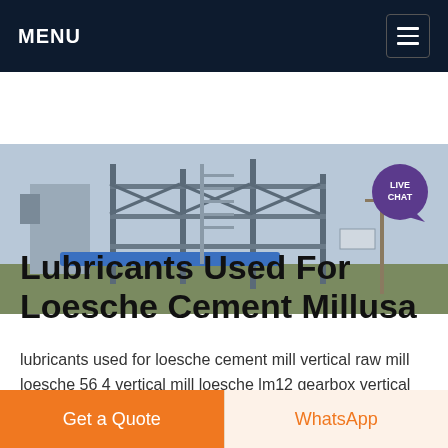MENU
[Figure (photo): Industrial facility with large structural steel framework, conveyor systems, and buildings. A 'LIVE CHAT' button appears in the upper right of the image.]
Lubricants Used For Loesche Cement Millusa
lubricants used for loesche cement mill vertical raw mill loesche 56 4 vertical mill loesche lm12 gearbox vertical roller mill loesche tyre lubrication Request Quotation Loesche Mill for Solid Fuels Document employed for decades in Loesche mills in the cement realised by reversing the oil pressure exerted on Request Quotation
Get a Quote
WhatsApp